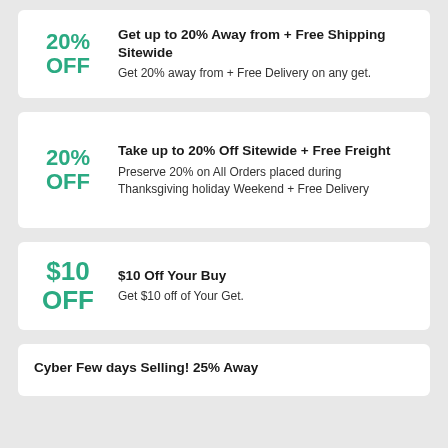20% OFF — Get up to 20% Away from + Free Shipping Sitewide. Get 20% away from + Free Delivery on any get.
20% OFF — Take up to 20% Off Sitewide + Free Freight. Preserve 20% on All Orders placed during Thanksgiving holiday Weekend + Free Delivery
$10 OFF — $10 Off Your Buy. Get $10 off of Your Get.
Cyber Few days Selling! 25% Away